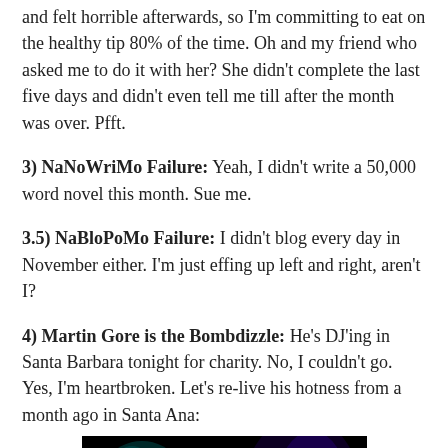and felt horrible afterwards, so I'm committing to eat on the healthy tip 80% of the time. Oh and my friend who asked me to do it with her? She didn't complete the last five days and didn't even tell me till after the month was over. Pfft.
3) NaNoWriMo Failure: Yeah, I didn't write a 50,000 word novel this month. Sue me.
3.5) NaBloPoMo Failure: I didn't blog every day in November either. I'm just effing up left and right, aren't I?
4) Martin Gore is the Bombdizzle: He's DJ'ing in Santa Barbara tonight for charity. No, I couldn't go. Yes, I'm heartbroken. Let's re-live his hotness from a month ago in Santa Ana:
[Figure (photo): Dark concert photo of a performer on stage with blue/purple stage lighting]